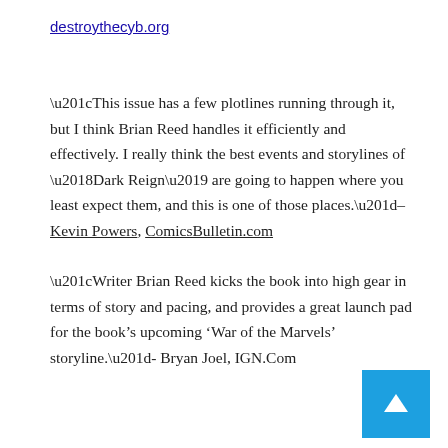destroythecyb.org
“This issue has a few plotlines running through it, but I think Brian Reed handles it efficiently and effectively. I really think the best events and storylines of ‘Dark Reign’ are going to happen where you least expect them, and this is one of those places.”– Kevin Powers, ComicsBulletin.com
“Writer Brian Reed kicks the book into high gear in terms of story and pacing, and provides a great launch pad for the book’s upcoming ‘War of the Marvels’ storyline.”- Bryan Joel, IGN.Com